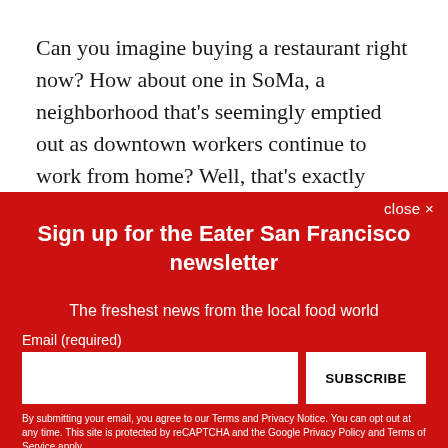Can you imagine buying a restaurant right now? How about one in SoMa, a neighborhood that's seemingly emptied out as downtown workers continue to work from home? Well, that's exactly what Fabien Santos did when he purchased Tres, a 15-year-old tequila lounge once owned by musician and speed-limit scofflaw Sammy Hagar. Now Santos has
close ✕
Sign up for the Eater San Francisco newsletter
The freshest news from the local food world
Email (required)
SUBSCRIBE
By submitting your email, you agree to our Terms and Privacy Notice. You can opt out at any time. This site is protected by reCAPTCHA and the Google Privacy Policy and Terms of Service apply.